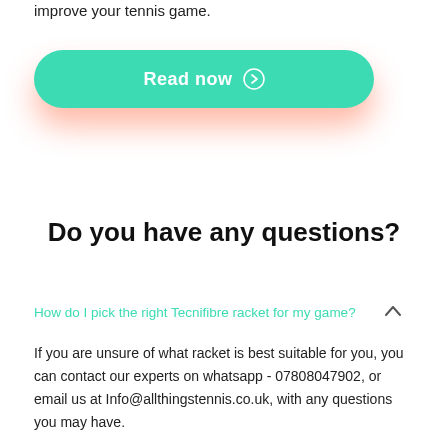improve your tennis game.
[Figure (other): Green rounded button with text 'Read now' and a right-arrow circle icon, with an orange/red glow shadow underneath]
Do you have any questions?
How do I pick the right Tecnifibre racket for my game?
If you are unsure of what racket is best suitable for you, you can contact our experts on whatsapp - 07808047902, or email us at Info@allthingstennis.co.uk, with any questions you may have.